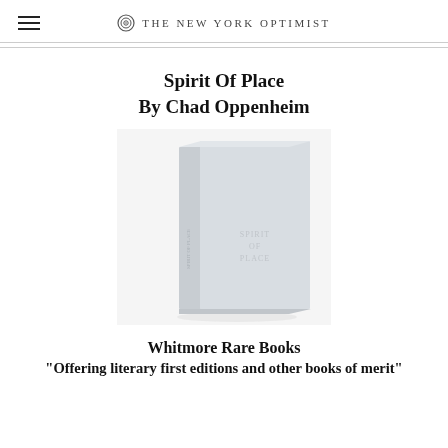THE NEW YORK OPTIMIST
Spirit Of Place
By Chad Oppenheim
[Figure (photo): A light grey hardcover book titled 'Spirit of Place' standing upright at a slight angle, showing both the front cover and spine, on a white background.]
Whitmore Rare Books
"Offering literary first editions and other books of merit"